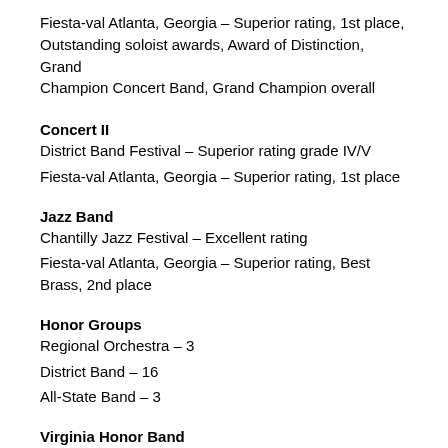Fiesta-val Atlanta, Georgia – Superior rating, 1st place, Outstanding soloist awards, Award of Distinction, Grand Champion Concert Band, Grand Champion overall
Concert II
District Band Festival – Superior rating grade IV/V
Fiesta-val Atlanta, Georgia – Superior rating, 1st place
Jazz Band
Chantilly Jazz Festival – Excellent rating
Fiesta-val Atlanta, Georgia – Superior rating, Best Brass, 2nd place
Honor Groups
Regional Orchestra – 3
District Band – 16
All-State Band – 3
Virginia Honor Band
2003-2004